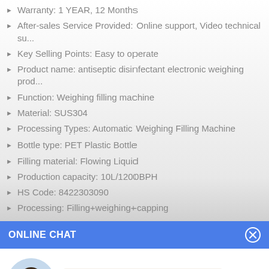Warranty: 1 YEAR, 12 Months
After-sales Service Provided: Online support, Video technical su...
Key Selling Points: Easy to operate
Product name: antiseptic disinfectant electronic weighing prod...
Function: Weighing filling machine
Material: SUS304
Processing Types: Automatic Weighing Filling Machine
Bottle type: PET Plastic Bottle
Filling material: Flowing Liquid
Production capacity: 10L/1200BPH
HS Code: 8422303090
Processing: Filling+weighing+capping
ONLINE CHAT
[Figure (photo): Avatar photo of Cilina, a woman in business attire]
Cilina
Hi,welcome to visit our website.